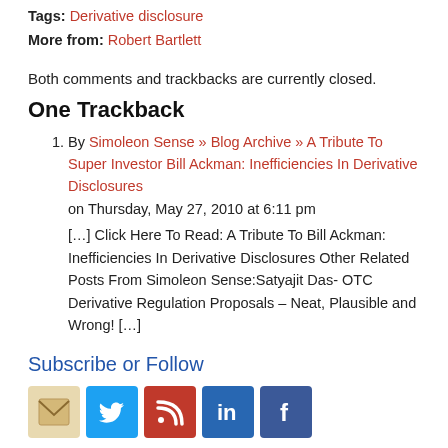Tags: Derivative disclosure
More from: Robert Bartlett
Both comments and trackbacks are currently closed.
One Trackback
By Simoleon Sense » Blog Archive » A Tribute To Super Investor Bill Ackman: Inefficiencies In Derivative Disclosures on Thursday, May 27, 2010 at 6:11 pm [...] Click Here To Read: A Tribute To Bill Ackman: Inefficiencies In Derivative Disclosures Other Related Posts From Simoleon Sense:Satyajit Das- OTC Derivative Regulation Proposals – Neat, Plausible and Wrong! [...]
Subscribe or Follow
[Figure (infographic): Row of social media icons: email envelope, Twitter bird, RSS feed, LinkedIn, Facebook]
Supported By:
[Figure (logo): Partial sponsor logo at bottom of page]